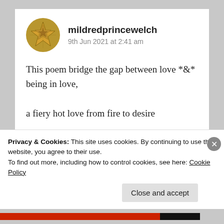mildredprincewelch
9th Jun 2021 at 2:41 am
This poem bridge the gap between love *&* being in love,

a fiery hot love from fire to desire

comprising love-on-love-in-love!
★ Liked by 5 people
Log in to Reply
Privacy & Cookies: This site uses cookies. By continuing to use this website, you agree to their use.
To find out more, including how to control cookies, see here: Cookie Policy
Close and accept